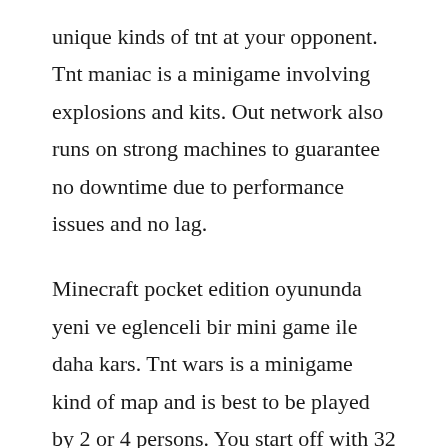unique kinds of tnt at your opponent. Tnt maniac is a minigame involving explosions and kits. Out network also runs on strong machines to guarantee no downtime due to performance issues and no lag.
Minecraft pocket edition oyununda yeni ve eglenceli bir mini game ile daha kars. Tnt wars is a minigame kind of map and is best to be played by 2 or 4 persons. You start off with 32 tnt, and you get 1 tnt every second once the game starts. Minecraft pe pvp map tnt wars published apr 25, 2017. The bomber is an